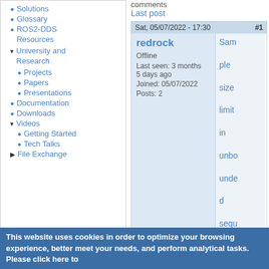Solutions
Glossary
ROS2-DDS Resources
University and Research
Projects
Papers
Presentations
Documentation
Downloads
Videos
Getting Started
Tech Talks
File Exchange
User login
comments
Last post
| Sat, 05/07/2022 - 17:30 | #1 |
| --- | --- |
| redrock
Offline
Last seen: 3 months 5 days ago
Joined: 05/07/2022
Posts: 2 | Sample size limit in unbounded sequences l |
This website uses cookies in order to optimize your browsing experience, better meet your needs, and perform analytical tasks. Please click here to